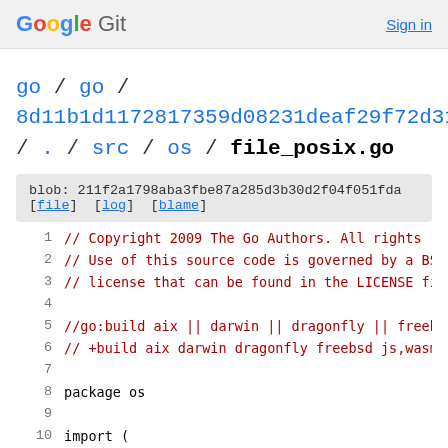Google Git  Sign in
go / go / 8d11b1d1172817359d08231deaf29f72d315b762 / . / src / os / file_posix.go
blob: 211f2a1798aba3fbe87a285d3b30d2f04f051fda
[file] [log] [blame]
1  // Copyright 2009 The Go Authors. All rights res
2  // Use of this source code is governed by a BSD-
3  // license that can be found in the LICENSE fil
4
5  //go:build aix || darwin || dragonfly || freebs
6  // +build aix darwin dragonfly freebsd js,wasm
7
8  package os
9
10  import (